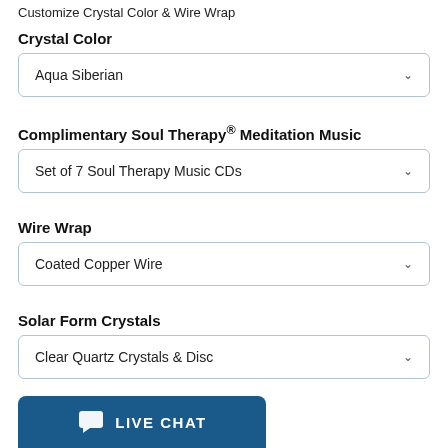Customize Crystal Color & Wire Wrap
Crystal Color
Aqua Siberian
Complimentary Soul Therapy® Meditation Music
Set of 7 Soul Therapy Music CDs
Wire Wrap
Coated Copper Wire
Solar Form Crystals
Clear Quartz Crystals & Disc
[Figure (screenshot): Live Chat button, teal/dark blue background with chat bubble icon and 'LIVE CHAT' text in white]